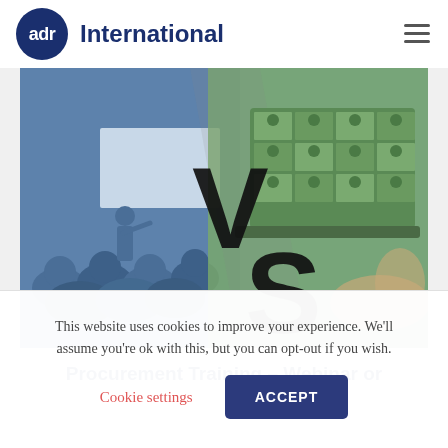[Figure (logo): ADR International logo — dark blue circle with 'adr' in white text, followed by 'International' in dark blue bold text]
[Figure (illustration): Split hero image: left half shows a blue-tinted classroom scene with a presenter at a whiteboard and audience from behind; right half shows a green-tinted laptop screen with a video conference grid of participants. Large bold 'VS' text overlaid in the center spanning both halves.]
Procurement Training – Webinar or
This website uses cookies to improve your experience. We'll assume you're ok with this, but you can opt-out if you wish.
Cookie settings
ACCEPT